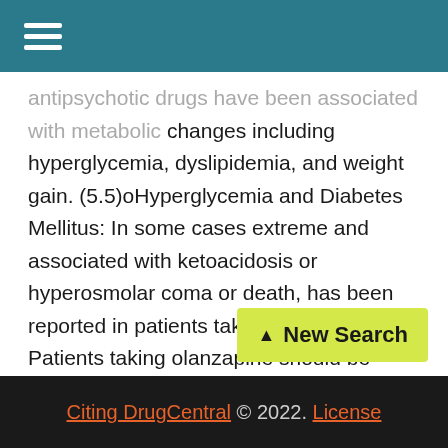☰ (hamburger menu)
antipsychotic drugs have been associated with metabolic changes including hyperglycemia, dyslipidemia, and weight gain. (5.5)oHyperglycemia and Diabetes Mellitus: In some cases extreme and associated with ketoacidosis or hyperosmolar coma or death, has been reported in patients taking olanzapine. Patients taking olanzapine should be monitored for symptoms of hyperglycemia and undergo fasting blood glucose testing at the beginning of, and periodically during, treatment. (5.5) oDyslipidemia: Undesirable alterations in lipids have been observed. Appropriate clinical monitoring is recommended, including fasting blood lipid testing at the beginning of, and periodically during, treatment. (5.5) oWeight Gain: Potential
[Figure (other): Yellow highlighted button with upward arrow and text 'New Search']
Citing DrugCentral © 2022. License